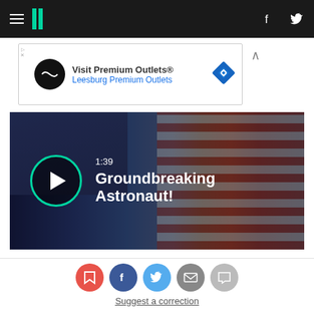HuffPost navigation bar with hamburger menu, logo, Facebook and Twitter icons
[Figure (screenshot): Advertisement banner for Visit Premium Outlets® / Leesburg Premium Outlets with logo circle and diamond navigation icon]
[Figure (screenshot): Video thumbnail showing astronaut in blue flight suit with American flag background, play button circle, duration 1:39, title Groundbreaking Astronaut!]
[Figure (infographic): Social sharing icons row: bookmark (red), Facebook (dark blue), Twitter (light blue), email (gray), comment (light gray)]
Suggest a correction